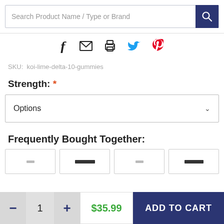Search Product Name / Type or Brand
[Figure (screenshot): Social sharing icons: Facebook (f), email (envelope), print (printer), Twitter (bird), Pinterest (P)]
SKU: koi-lime-delta-10-gummies
Strength: *
Options
Frequently Bought Together:
1
$35.99
ADD TO CART